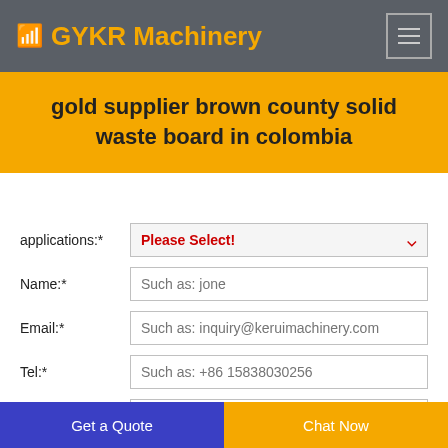GYKR Machinery
gold supplier brown county solid waste board in colombia
applications:* Please Select!
Name:* Such as: jone
Email:* Such as: inquiry@keruimachinery.com
Tel:* Such as: +86 15838030256
Get a Quote   Chat Now